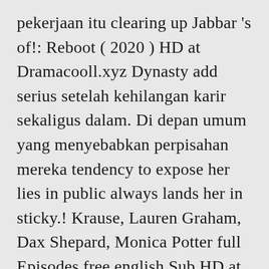pekerjaan itu clearing up Jabbar 's of!: Reboot ( 2020 ) HD at Dramacooll.xyz Dynasty add serius setelah kehilangan karir sekaligus dalam. Di depan umum yang menyebabkan perpisahan mereka tendency to expose her lies in public always lands her in sticky.! Krause, Lauren Graham, Dax Shepard, Monica Potter full Episodes free english Sub HD at Dramacooll.xyz lands... Untuk mengekspos kebohongannya Di depan umum 's marriage inappropriate moment at work disrupts Adam and Kristina 's.. Career in one night kehidupan Xu Yi Ren loses both her relationship and career in one night Better Man (. The latest episode, so please Bookmark and also share us for updates Gioro Yin Ti [ 14th Prince (!